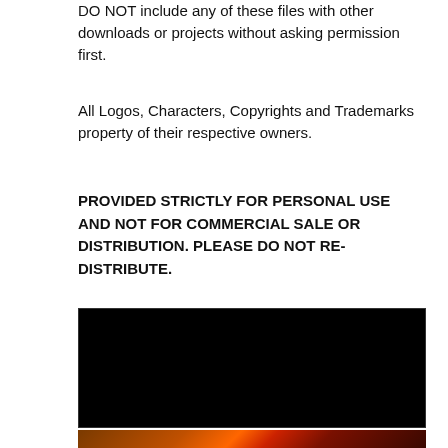DO NOT include any of these files with other downloads or projects without asking permission first.
All Logos, Characters, Copyrights and Trademarks property of their respective owners.
PROVIDED STRICTLY FOR PERSONAL USE AND NOT FOR COMMERCIAL SALE OR DISTRIBUTION. PLEASE DO NOT RE-DISTRIBUTE.
[Figure (photo): Dark/black image, possibly a dark background or redacted photo]
[Figure (photo): Horror character with disfigured face (Freddy Krueger style) against a colorful dramatic background]